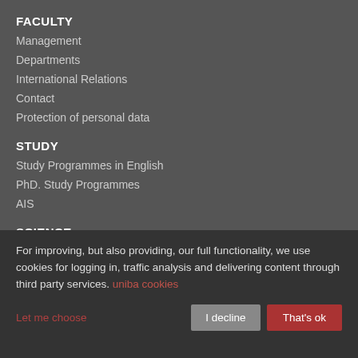FACULTY
Management
Departments
International Relations
Contact
Protection of personal data
STUDY
Study Programmes in English
PhD. Study Programmes
AIS
SCIENCE
FACULTIES
Faculty of Medicine
For improving, but also providing, our full functionality, we use cookies for logging in, traffic analysis and delivering content through third party services. uniba cookies
Let me choose
I decline
That's ok